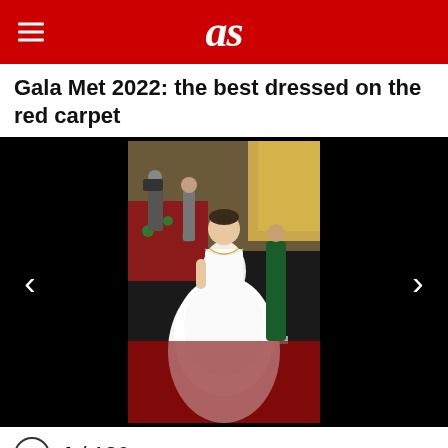as
Gala Met 2022: the best dressed on the red carpet
[Figure (photo): Woman in a white strapless ball gown on the Met Gala 2022 red carpet, surrounded by photographers and other guests including someone in a green gown]
1 / 136